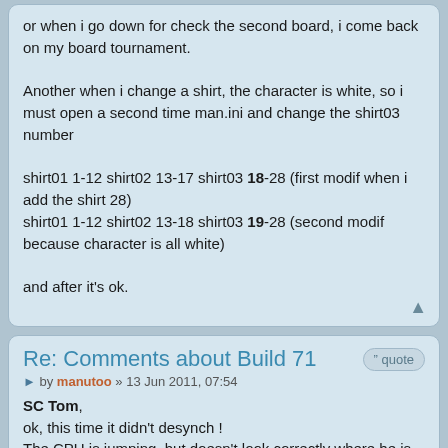or when i go down for check the second board, i come back on my board tournament.

Another when i change a shirt, the character is white, so i must open a second time man.ini and change the shirt03 number

shirt01 1-12 shirt02 13-17 shirt03 18-28 (first modif when i add the shirt 28)
shirt01 1-12 shirt02 13-18 shirt03 19-28 (second modif because character is all white)

and after it's ok.
Re: Comments about Build 71
by manutoo » 13 Jun 2011, 07:54
SC Tom,
ok, this time it didn't desynch !
The CPU is jumping, but doesn't look correctly where he is currently to decide to jump or not ! (that would happen when he's running forward or backward)
Are you sure all other cases were like this case ? If so, then it'll be all fixed for next update..!